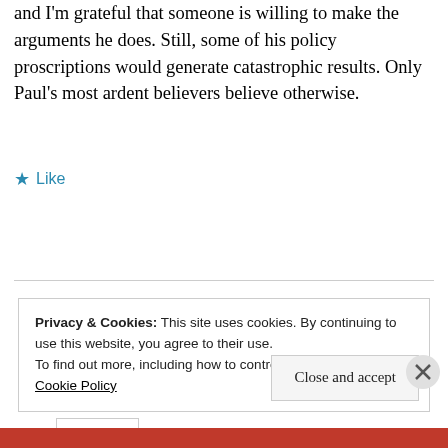and I'm grateful that someone is willing to make the arguments he does. Still, some of his policy proscriptions would generate catastrophic results. Only Paul's most ardent believers believe otherwise.
★ Like
Reply
Privacy & Cookies: This site uses cookies. By continuing to use this website, you agree to their use.
To find out more, including how to control cookies, see here: Cookie Policy
Close and accept